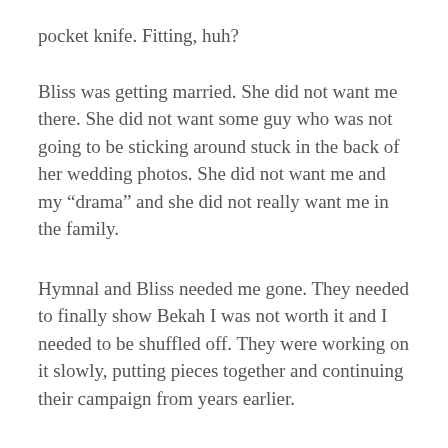pocket knife. Fitting, huh?
Bliss was getting married. She did not want me there. She did not want some guy who was not going to be sticking around stuck in the back of her wedding photos. She did not want me and my “drama” and she did not really want me in the family.
Hymnal and Bliss needed me gone. They needed to finally show Bekah I was not worth it and I needed to be shuffled off. They were working on it slowly, putting pieces together and continuing their campaign from years earlier.